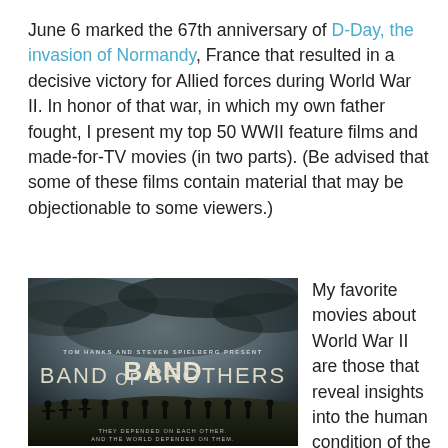June 6 marked the 67th anniversary of D-Day, the invasion of Normandy, France that resulted in a decisive victory for Allied forces during World War II. In honor of that war, in which my own father fought, I present my top 50 WWII feature films and made-for-TV movies (in two parts). (Be advised that some of these films contain material that may be objectionable to some viewers.)
[Figure (photo): Promotional poster for 'Band of Brothers' TV miniseries — dark stormy sky background, text 'TOM HANKS AND STEVEN SPIELBERG PRESENT', large title 'BAND OF BROTHERS', silhouettes of soldiers marching at bottom, tagline 'THEY DEPENDED ON EACH OTHER. AND THE WORLD DEPENDED ON THEM.']
My favorite movies about World War II are those that reveal insights into the human condition of the brave men who fought this catastrophic war. Realistic fighting